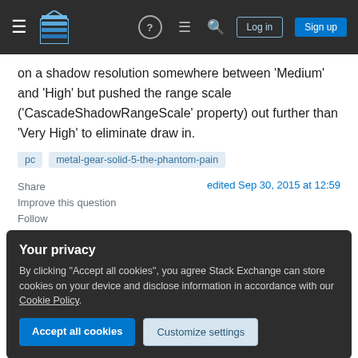Stack Exchange navigation bar with hamburger menu, logo, help, chat, search icons, Log in and Sign up buttons
on a shadow resolution somewhere between 'Medium' and 'High' but pushed the range scale ('CascadeShadowRangeScale' property) out further than 'Very High' to eliminate draw in.
pc   metal-gear-solid-5-the-phantom-pain
Share
edited Sep 30, 2015 at 12:59
Improve this question
Follow
Your privacy
By clicking "Accept all cookies", you agree Stack Exchange can store cookies on your device and disclose information in accordance with our Cookie Policy.
Accept all cookies
Customize settings
compatibility set for 8? 10 is known to have graphic